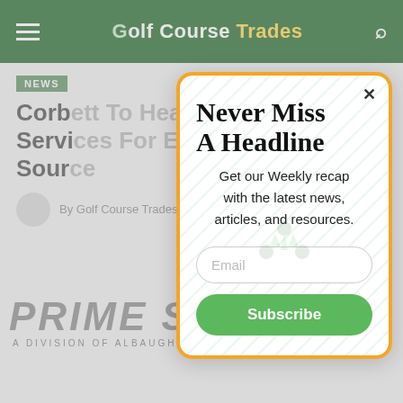Golf Course Trades
NEWS
Corbett To Head Up Technical Services For Expanding Prime Source
By Golf Course Trades
Never Miss A Headline
Get our Weekly recap with the latest news, articles, and resources.
Email
Subscribe
[Figure (logo): Prime Source - A Division of Albaugh, LLC logo at bottom of page]